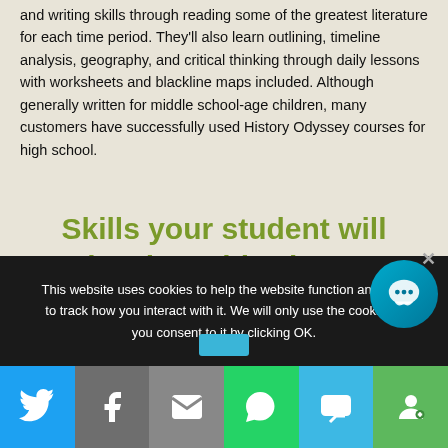and writing skills through reading some of the greatest literature for each time period. They'll also learn outlining, timeline analysis, geography, and critical thinking through daily lessons with worksheets and blackline maps included. Although generally written for middle school-age children, many customers have successfully used History Odyssey courses for high school.
Skills your student will develop with History Odyssey:
This website uses cookies to help the website function and also to track how you interact with it. We will only use the cookies if you consent to it by clicking OK.